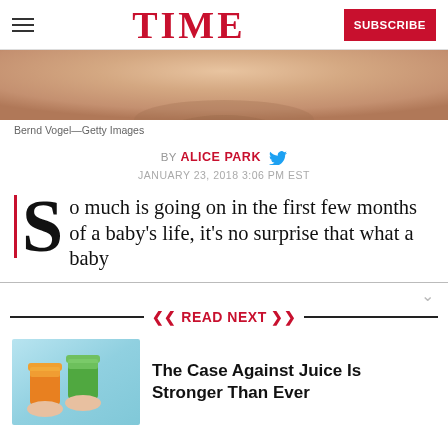TIME — SUBSCRIBE
[Figure (photo): Close-up photo of a baby's skin/body, peach/skin tone, cropped tightly]
Bernd Vogel—Getty Images
BY ALICE PARK  JANUARY 23, 2018 3:06 PM EST
So much is going on in the first few months of a baby's life, it's no surprise that what a baby
READ NEXT
[Figure (photo): Two juice cups being held up, orange and green juice, light blue background]
The Case Against Juice Is Stronger Than Ever